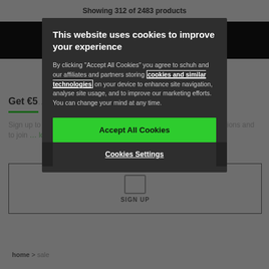Showing 312 of 2483 products
Get €5...
Sign up to hear about our latest offers, promotions and cool competitions and to join our loyalty scheme...
[Figure (screenshot): Email signup box with envelope icon and SIGN UP label]
home > sale
This website uses cookies to improve your experience
By clicking "Accept All Cookies" you agree to schuh and our affiliates and partners storing cookies and similar technologies on your device to enhance site navigation, analyse site usage, and to improve our marketing efforts. You can change your mind at any time.
Accept All Cookies
Cookies Settings